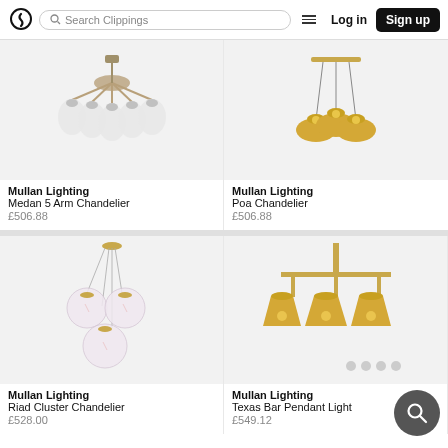Clippings – Search Clippings | Log in | Sign up
[Figure (photo): Mullan Lighting Medan 5 Arm Chandelier – antique brass chandelier with frosted glass bell shades]
Mullan Lighting
Medan 5 Arm Chandelier
£506.88
[Figure (photo): Mullan Lighting Poa Chandelier – gold dome pendant chandelier with three dome shades]
Mullan Lighting
Poa Chandelier
£506.88
[Figure (photo): Mullan Lighting Riad Cluster Chandelier – cluster of four clear glass globe pendants with gold fittings]
Mullan Lighting
Riad Cluster Chandelier
£528.00
[Figure (photo): Mullan Lighting Texas Bar Pendant Light – brass bar pendant with three industrial cone shades]
Mullan Lighting
Texas Bar Pendant Light
£549.12